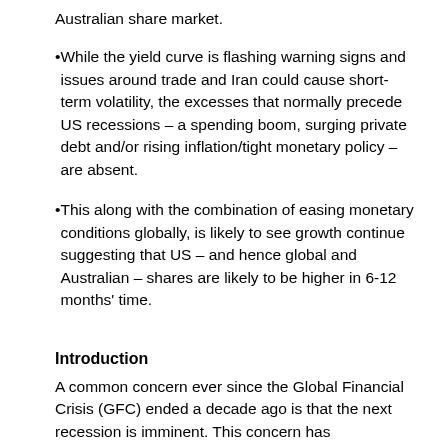Australian share market.
While the yield curve is flashing warning signs and issues around trade and Iran could cause short-term volatility, the excesses that normally precede US recessions – a spending boom, surging private debt and/or rising inflation/tight monetary policy – are absent.
This along with the combination of easing monetary conditions globally, is likely to see growth continue suggesting that US – and hence global and Australian – shares are likely to be higher in 6-12 months' time.
Introduction
A common concern ever since the Global Financial Crisis (GFC) ended a decade ago is that the next recession is imminent. This concern has